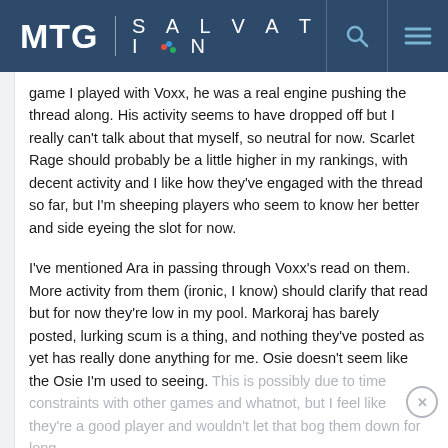MTG SALVATION
game I played with Voxx, he was a real engine pushing the thread along. His activity seems to have dropped off but I really can't talk about that myself, so neutral for now. Scarlet Rage should probably be a little higher in my rankings, with decent activity and I like how they've engaged with the thread so far, but I'm sheeping players who seem to know her better and side eyeing the slot for now.
I've mentioned Ara in passing through Voxx's read on them. More activity from them (ironic, I know) should clarify that read but for now they're low in my pool. Markoraj has barely posted, lurking scum is a thing, and nothing they've posted as yet has really done anything for me. Osie doesn't seem like the Osie I'm used to seeing. This is possibly due to time constraints with other games and whatnot, but I feel like they're a good player and wouldn't let that bog them down for long.